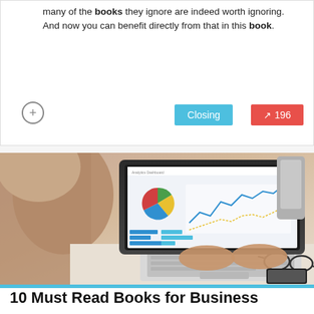many of the books they ignore are indeed worth ignoring. And now you can benefit directly from that in this book.
[Figure (photo): Person typing on a laptop displaying a dashboard with pie chart, line chart, and bar charts. Glasses and a smartphone are visible on the desk beside the laptop.]
10 Must Read Books for Business